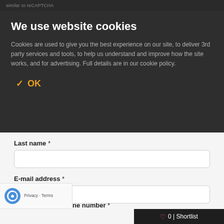similar to reCAPTCHA
We use website cookies
Cookies are used to give you the best experience on our site, to deliver 3rd party services and tools, to help us understand and improve how the site works, and for advertising. Full details are in our cookie policy.
✓ OK
Last name *
E-mail address *
ne number *
Privacy · Terms
♡ 0 | Shortlist